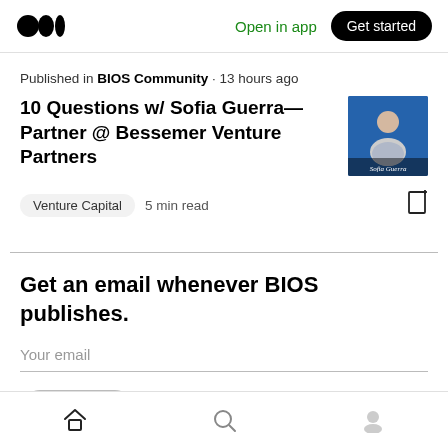Open in app  Get started
Published in BIOS Community · 13 hours ago
10 Questions w/ Sofia Guerra— Partner @ Bessemer Venture Partners
[Figure (photo): Thumbnail photo of Sofia Guerra on a blue background with name text overlay]
Venture Capital  5 min read
Get an email whenever BIOS publishes.
Your email
Home  Search  Profile navigation icons